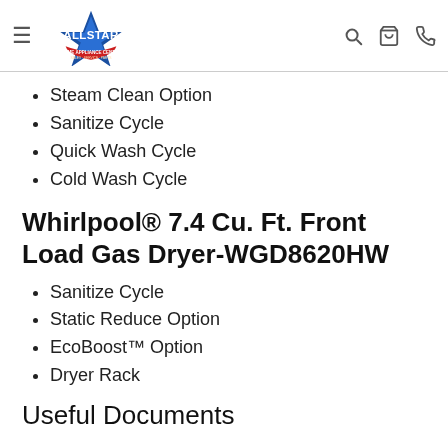Allstar Home Appliance Center
Steam Clean Option
Sanitize Cycle
Quick Wash Cycle
Cold Wash Cycle
Whirlpool® 7.4 Cu. Ft. Front Load Gas Dryer-WGD8620HW
Sanitize Cycle
Static Reduce Option
EcoBoost™ Option
Dryer Rack
Useful Documents